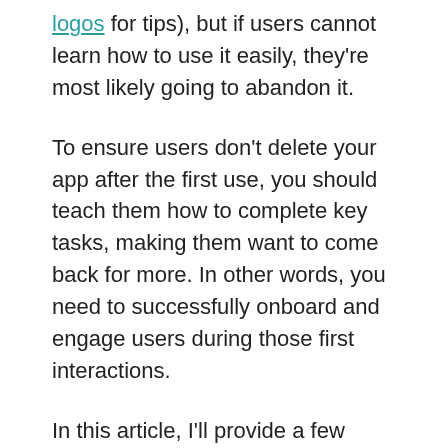logos for tips), but if users cannot learn how to use it easily, they're most likely going to abandon it.
To ensure users don't delete your app after the first use, you should teach them how to complete key tasks, making them want to come back for more. In other words, you need to successfully onboard and engage users during those first interactions.
In this article, I'll provide a few common onboarding techniques for mobile apps, as well as tips on the do's and don'ts of each one. These onboarding strategies will help you